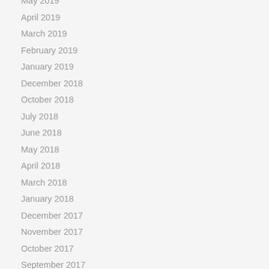May 2019
April 2019
March 2019
February 2019
January 2019
December 2018
October 2018
July 2018
June 2018
May 2018
April 2018
March 2018
January 2018
December 2017
November 2017
October 2017
September 2017